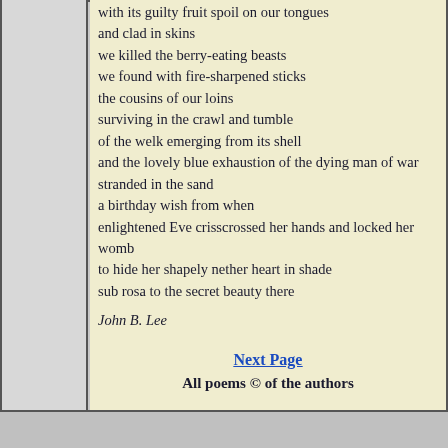with its guilty fruit spoil on our tongues
and clad in skins
we killed the berry-eating beasts
we found with fire-sharpened sticks
the cousins of our loins
surviving in the crawl and tumble
of the welk emerging from its shell
and the lovely blue exhaustion of the dying man of war
stranded in the sand
a birthday wish from when
enlightened Eve crisscrossed her hands and locked her womb
to hide her shapely nether heart in shade
sub rosa to the secret beauty there
John B. Lee
Next Page
All poems © of the authors